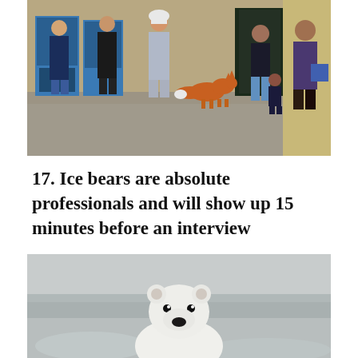[Figure (photo): Outdoor scene showing people queuing at ATM machines outside a building, with a red fox standing among them on a paved area.]
17. Ice bears are absolute professionals and will show up 15 minutes before an interview
[Figure (photo): A polar bear cub looking directly at the camera against a snowy, icy background.]